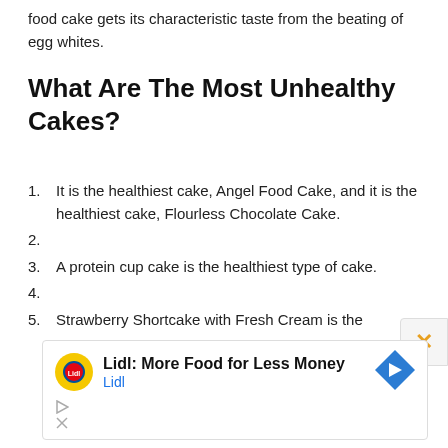food cake gets its characteristic taste from the beating of egg whites.
What Are The Most Unhealthy Cakes?
1. It is the healthiest cake, Angel Food Cake, and it is the healthiest cake, Flourless Chocolate Cake.
2.
3. A protein cup cake is the healthiest type of cake.
4.
5. Strawberry Shortcake with Fresh Cream is the
[Figure (infographic): Lidl advertisement banner: Lidl logo (yellow circle with red Lidl text), text 'Lidl: More Food for Less Money' and 'Lidl', blue navigation arrow icon on right. Play and close (X) icons at bottom left.]